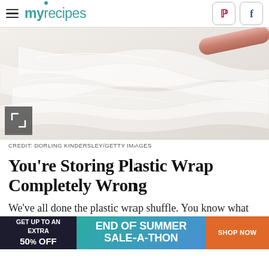myrecipes
[Figure (photo): A roll of clear plastic wrap partially unrolled on a light background, showing crinkled transparent film with a pink/rose-colored cardboard tube.]
CREDIT: DORLING KINDERSLEY/GETTY IMAGES
You're Storing Plastic Wrap Completely Wrong
We've all done the plastic wrap shuffle. You know what we're talking about — when we just can't tear off a piece cleanly and instead end up with a mangled piece
[Figure (infographic): Advertisement banner: GET UP TO AN EXTRA 50% OFF | END OF SUMMER SALE-A-THON | SHOP NOW]